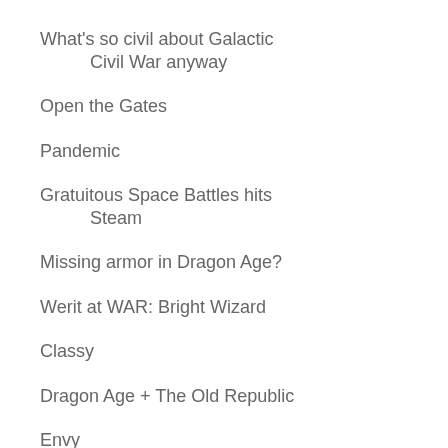What's so civil about Galactic Civil War anyway
Open the Gates
Pandemic
Gratuitous Space Battles hits Steam
Missing armor in Dragon Age?
Werit at WAR: Bright Wizard
Classy
Dragon Age + The Old Republic
Envy
Last night's PTS event
Q&A with Torchlight's Matt